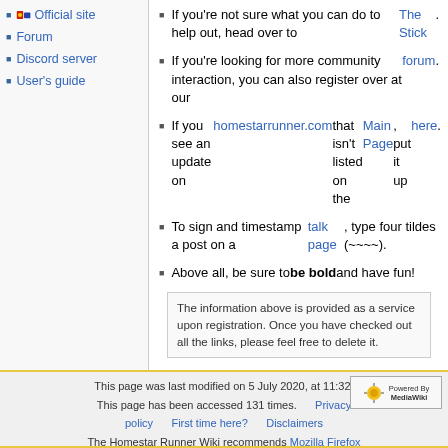Official site
Forum
Discord server
User's guide
If you're not sure what you can do to help out, head over to The Stick.
If you're looking for more community interaction, you can also register over at our forum.
If you see an update on homestarrunner.com that isn't listed on the Main Page, put it up here.
To sign and timestamp a post on a talk page, type four tildes (~~~~).
Above all, be sure to be bold and have fun!
The information above is provided as a service upon registration. Once you have checked out all the links, please feel free to delete it.
This page was last modified on 5 July 2020, at 11:32. This page has been accessed 131 times. Privacy policy First time here? Disclaimers The Homestar Runner Wiki recommends Mozilla Firefox